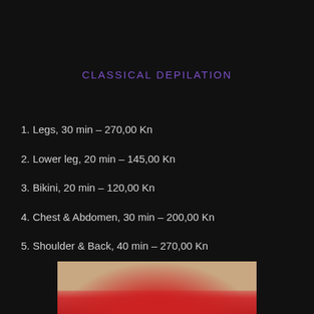CLASSICAL DEPILATION
1.  Legs, 30 min – 270,00 Kn
2.  Lower leg, 20 min – 145,00 Kn
3.  Bikini, 20 min – 120,00 Kn
4.  Chest & Abdomen, 30 min – 200,00 Kn
5.  Shoulder & Back, 40 min –  270,00 Kn
[Figure (photo): Bottom portion of a photo showing hands performing a depilation treatment, against a beige/skin-toned background with orange/red wax or product visible]